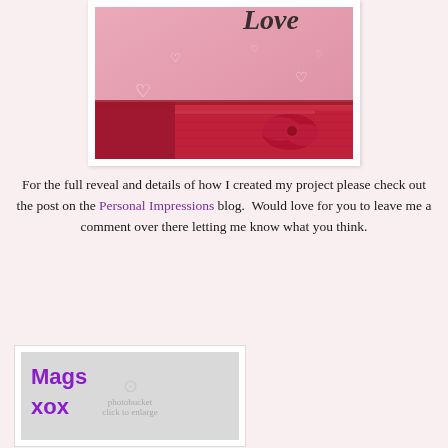[Figure (photo): Close-up photo of pink fabric with heart patterns and 'Love' text, with a red satin ribbon folded and tied at the bottom edge.]
For the full reveal and details of how I created my project please check out the post on the Personal Impressions blog.  Would love for you to leave me a comment over there letting me know what you think.
[Figure (photo): Signature image on grey background reading 'Mags xox' in purple handwritten/cursive font, with a Photobucket watermark overlay.]